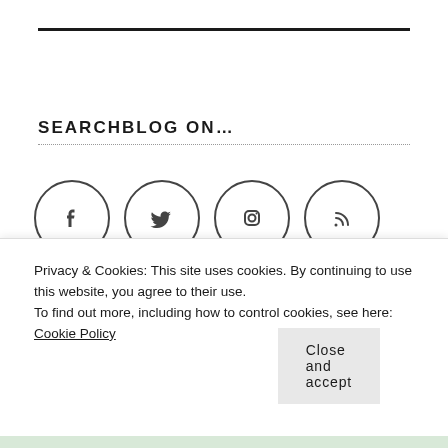SEARCHBLOG ON…
[Figure (infographic): Four social media icon circles in a row: Facebook, Twitter, Instagram, RSS feed]
Privacy & Cookies: This site uses cookies. By continuing to use this website, you agree to their use.
To find out more, including how to control cookies, see here: Cookie Policy
Close and accept